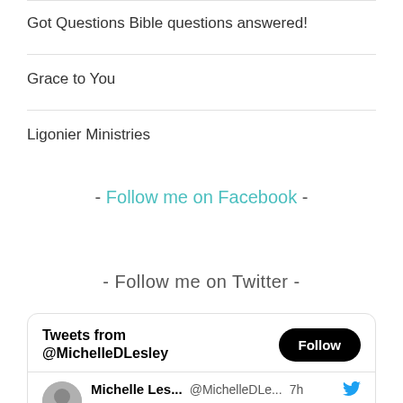Got Questions Bible questions answered!
Grace to You
Ligonier Ministries
- Follow me on Facebook -
- Follow me on Twitter -
[Figure (screenshot): Twitter widget showing 'Tweets from @MichelleDLesley' with a Follow button, and a tweet row showing Michelle Les... @MichelleDLe... 7h with Twitter bird icon]